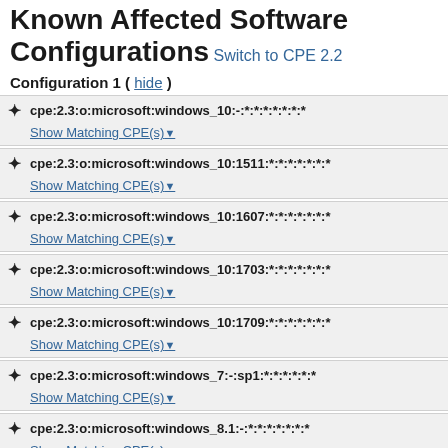Known Affected Software Configurations Switch to CPE 2.2
Configuration 1 ( hide )
cpe:2.3:o:microsoft:windows_10:-:*:*:*:*:*:*:*
Show Matching CPE(s)
cpe:2.3:o:microsoft:windows_10:1511:*:*:*:*:*:*:*
Show Matching CPE(s)
cpe:2.3:o:microsoft:windows_10:1607:*:*:*:*:*:*:*
Show Matching CPE(s)
cpe:2.3:o:microsoft:windows_10:1703:*:*:*:*:*:*:*
Show Matching CPE(s)
cpe:2.3:o:microsoft:windows_10:1709:*:*:*:*:*:*:*
Show Matching CPE(s)
cpe:2.3:o:microsoft:windows_7:-:sp1:*:*:*:*:*:*
Show Matching CPE(s)
cpe:2.3:o:microsoft:windows_8.1:-:*:*:*:*:*:*:*
Show Matching CPE(s)